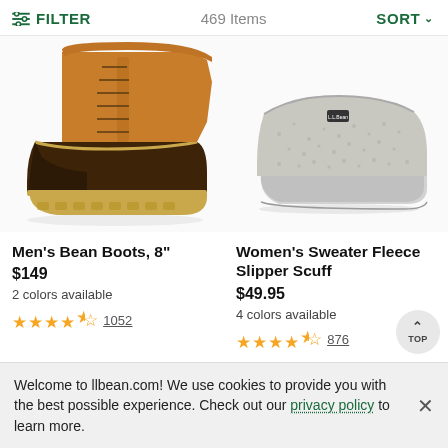FILTER   469 Items   SORT
[Figure (photo): Men's Bean Boot - tan leather upper with dark brown rubber bottom and gum rubber sole, side profile view]
[Figure (photo): Women's Sweater Fleece Slipper Scuff - grey heathered clog-style slipper, side profile view]
Men's Bean Boots, 8"
$149
2 colors available
★★★★½ 1052
Women's Sweater Fleece Slipper Scuff
$49.95
4 colors available
★★★★½ 876
Welcome to llbean.com! We use cookies to provide you with the best possible experience. Check out our privacy policy to learn more.